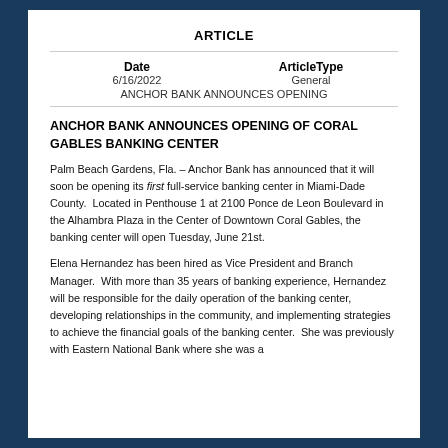ARTICLE
| Date | ArticleType |
| --- | --- |
| 6/16/2022 | General |
| ANCHOR BANK ANNOUNCES OPENING |  |
ANCHOR BANK ANNOUNCES OPENING OF CORAL GABLES BANKING CENTER
Palm Beach Gardens, Fla. – Anchor Bank has announced that it will soon be opening its first full-service banking center in Miami-Dade County.  Located in Penthouse 1 at 2100 Ponce de Leon Boulevard in the Alhambra Plaza in the Center of Downtown Coral Gables, the banking center will open Tuesday, June 21st.
Elena Hernandez has been hired as Vice President and Branch Manager.  With more than 35 years of banking experience, Hernandez will be responsible for the daily operation of the banking center, developing relationships in the community, and implementing strategies to achieve the financial goals of the banking center.  She was previously with Eastern National Bank where she was a